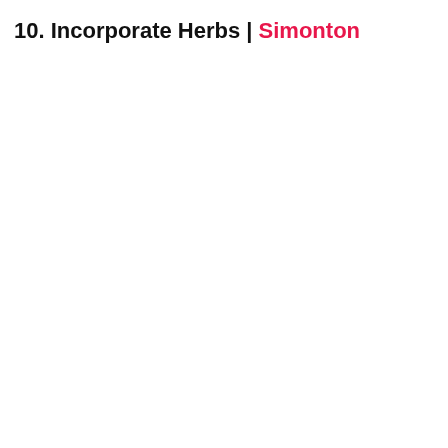10. Incorporate Herbs | Simonton